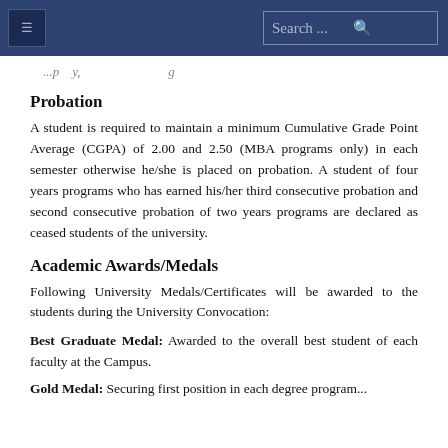Search ...
...apply...
Probation
A student is required to maintain a minimum Cumulative Grade Point Average (CGPA) of 2.00 and 2.50 (MBA programs only) in each semester otherwise he/she is placed on probation. A student of four years programs who has earned his/her third consecutive probation and second consecutive probation of two years programs are declared as ceased students of the university.
Academic Awards/Medals
Following University Medals/Certificates will be awarded to the students during the University Convocation:
Best Graduate Medal: Awarded to the overall best student of each faculty at the Campus.
Gold Medal: Securing first position in each degree program...